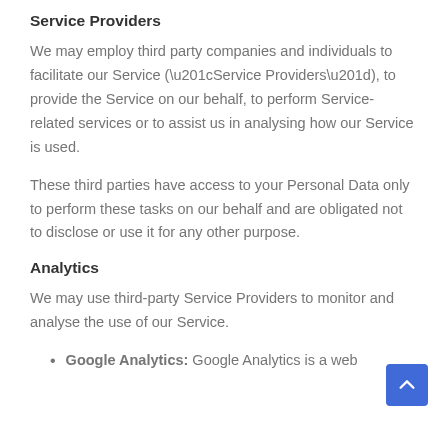Service Providers
We may employ third party companies and individuals to facilitate our Service (“Service Providers”), to provide the Service on our behalf, to perform Service-related services or to assist us in analysing how our Service is used.
These third parties have access to your Personal Data only to perform these tasks on our behalf and are obligated not to disclose or use it for any other purpose.
Analytics
We may use third-party Service Providers to monitor and analyse the use of our Service.
Google Analytics: Google Analytics is a web